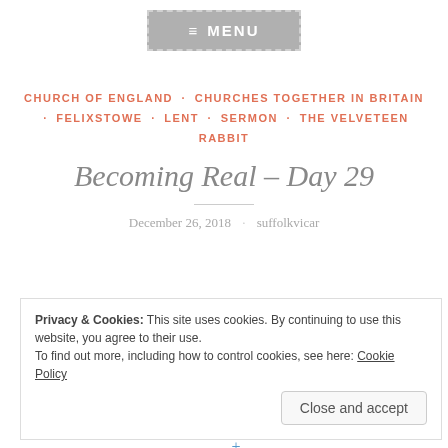[Figure (other): Menu button with hamburger icon, gray background with dashed border]
CHURCH OF ENGLAND · CHURCHES TOGETHER IN BRITAIN · FELIXSTOWE · LENT · SERMON · THE VELVETEEN RABBIT
Becoming Real – Day 29
December 26, 2018 · suffolkvicar
Privacy & Cookies: This site uses cookies. By continuing to use this website, you agree to their use.
To find out more, including how to control cookies, see here: Cookie Policy
Close and accept